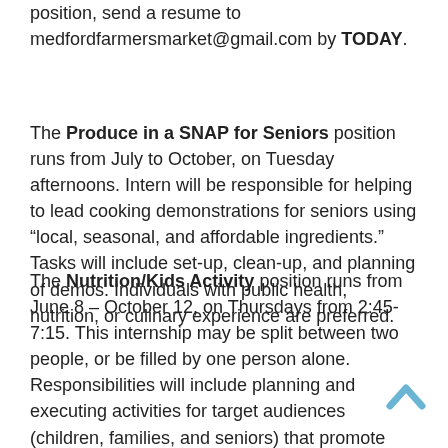position, send a resume to medfordfarmersmarket@gmail.com by TODAY.
The Produce in a SNAP for Seniors position runs from July to October, on Tuesday afternoons. Intern will be responsible for helping to lead cooking demonstrations for seniors using “local, seasonal, and affordable ingredients.” Tasks will include set-up, clean-up, and planning of demos. Individuals with public health, nutrition, or culinary experience are preferred.
The Nutrition/Kids Activity position runs from June 8 – October 12, on Thursdays from 2:45-7:15. This internship may be split between two people, or be filled by one person alone. Responsibilities will include planning and executing activities for target audiences (children, families, and seniors) that promote healthy eating, and documenting Medford Farmers Market activities. Experience with nutrition, public health, or dietetics is required; current students in these fields are